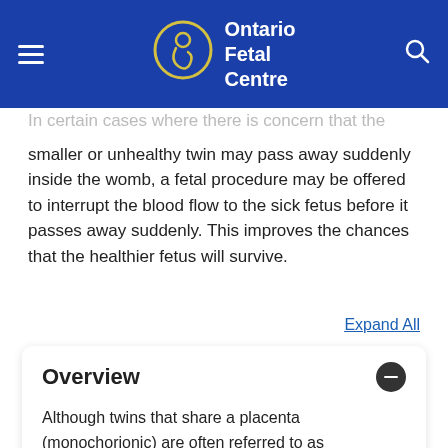Ontario Fetal Centre
In certain cases where there is concern that the smaller or unhealthy twin may pass away suddenly inside the womb, a fetal procedure may be offered to interrupt the blood flow to the sick fetus before it passes away suddenly. This improves the chances that the healthier fetus will survive.
Expand All
Overview
Although twins that share a placenta (monochorionic) are often referred to as identical twins, they may, in fact, behave